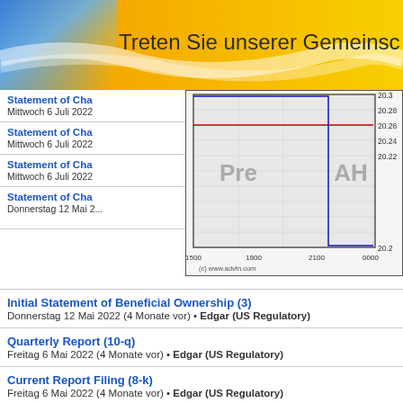Treten Sie unserer Gemeinschaft bei
Statement of Cha... | Mittwoch 6 Juli 2022
[Figure (continuous-plot): Stock price chart showing pre-market and after-hours trading. Y-axis values from 20.2 to 20.3. X-axis shows times 1500, 1800, 2100, 0000. Red horizontal line around 20.28, blue line drops at 2100. 'Pre' and 'AH' labels shown. (c) www.advfn.com]
Statement of Cha... | Mittwoch 6 Juli 2022
Statement of Cha... | Mittwoch 6 Juli 2022
Statement of Cha... | Donnerstag 12 Mai 2...
Initial Statement of Beneficial Ownership (3) | Donnerstag 12 Mai 2022 (4 Monate vor) • Edgar (US Regulatory)
Quarterly Report (10-q) | Freitag 6 Mai 2022 (4 Monate vor) • Edgar (US Regulatory)
Current Report Filing (8-k) | Freitag 6 Mai 2022 (4 Monate vor) • Edgar (US Regulatory)
Statement of Beneficial Ownership (sc 13d) | Dienstag 12 April 2022 (5 Monate vor) • Edgar (US Regulatory)